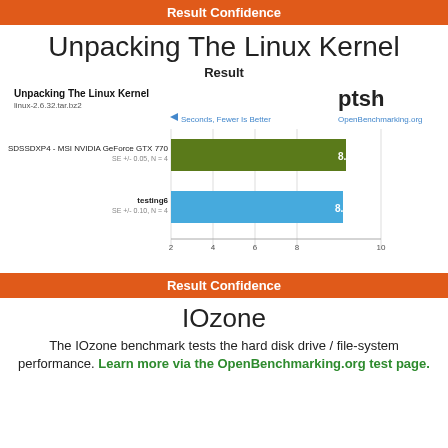Result Confidence
Unpacking The Linux Kernel
Result
[Figure (bar-chart): Unpacking The Linux Kernel]
Result Confidence
IOzone
The IOzone benchmark tests the hard disk drive / file-system performance. Learn more via the OpenBenchmarking.org test page.